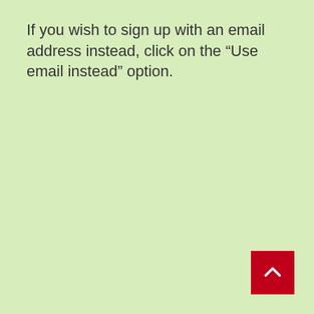If you wish to sign up with an email address instead, click on the “Use email instead” option.
[Figure (other): Red square button with white upward-pointing chevron arrow, used as a scroll-to-top button]